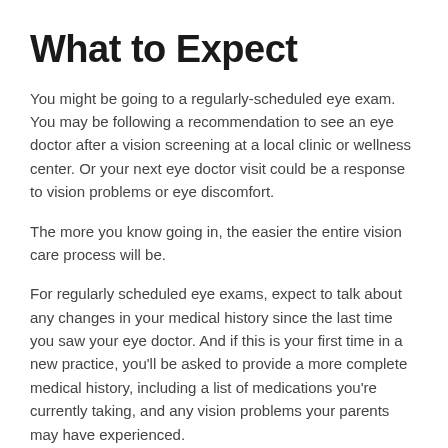What to Expect
You might be going to a regularly-scheduled eye exam. You may be following a recommendation to see an eye doctor after a vision screening at a local clinic or wellness center. Or your next eye doctor visit could be a response to vision problems or eye discomfort.
The more you know going in, the easier the entire vision care process will be.
For regularly scheduled eye exams, expect to talk about any changes in your medical history since the last time you saw your eye doctor. And if this is your first time in a new practice, you'll be asked to provide a more complete medical history, including a list of medications you're currently taking, and any vision problems your parents may have experienced.
In addition, you'll undergo a series of vision and eye tests that help determine the overall health and quality of your vision. These tests also help to check that your current prescription glasses or